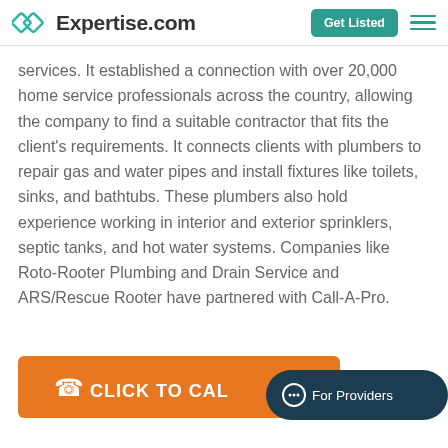Expertise.com | Get Listed
services. It established a connection with over 20,000 home service professionals across the country, allowing the company to find a suitable contractor that fits the client's requirements. It connects clients with plumbers to repair gas and water pipes and install fixtures like toilets, sinks, and bathtubs. These plumbers also hold experience working in interior and exterior sprinklers, septic tanks, and hot water systems. Companies like Roto-Rooter Plumbing and Drain Service and ARS/Rescue Rooter have partnered with Call-A-Pro.
[Figure (other): Orange CLICK TO CALL button with phone icon]
[Figure (other): Dark teal For Providers chat pill button]